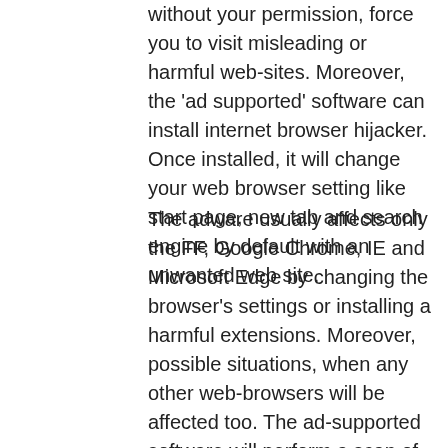without your permission, force you to visit misleading or harmful web-sites. Moreover, the 'ad supported' software can install internet browser hijacker. Once installed, it will change your web browser setting like start page, new tab and search engine by default with an unwanted web site.
The adware usually affects only the FF, Google Chrome, IE and Microsoft Edge by changing the browser's settings or installing a harmful extensions. Moreover, possible situations, when any other web-browsers will be affected too. The ad-supported software will perform a scan of the computer for internet browser shortcuts and modify them without your permission. When it infects the web browser shortcuts, it will add the argument such as 'http://site.address' into Target property. So, each time you start the web browser you will see an annoying